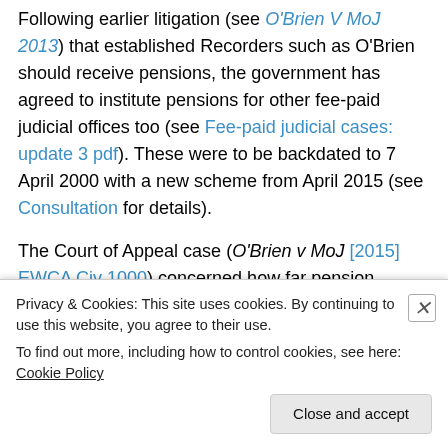Following earlier litigation (see O'Brien V MoJ 2013) that established Recorders such as O'Brien should receive pensions, the government has agreed to institute pensions for other fee-paid judicial offices too (see Fee-paid judicial cases: update 3 pdf). These were to be backdated to 7 April 2000 with a new scheme from April 2015 (see Consultation for details).
The Court of Appeal case (O'Brien v MoJ [2015] EWCA Civ 1000) concerned how far pension entitlement should be backdated. Lawyers for O'Brien (and in effect any other fee-paid judicial officers in similar positions) argued that
Privacy & Cookies: This site uses cookies. By continuing to use this website, you agree to their use. To find out more, including how to control cookies, see here: Cookie Policy